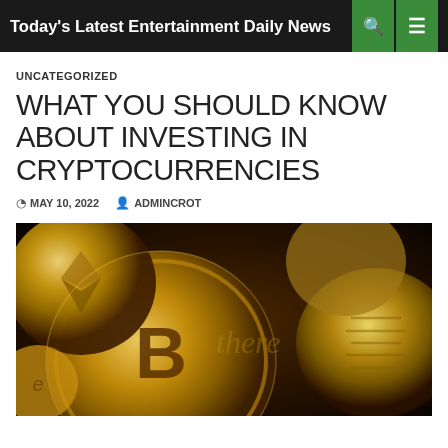Today's Latest Entertainment Daily News
UNCATEGORIZED
WHAT YOU SHOULD KNOW ABOUT INVESTING IN CRYPTOCURRENCIES
MAY 10, 2022  ADMINCROT
[Figure (photo): Gold cryptocurrency coins including Bitcoin and Ethereum arranged on a dark background]